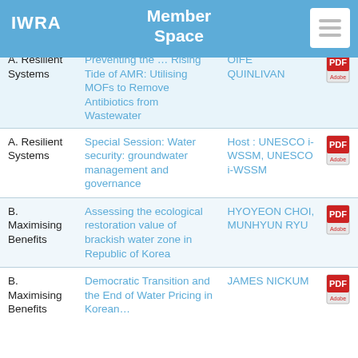IWRA | Member Space
| Category | Title | Author | PDF |
| --- | --- | --- | --- |
| A. Resilient Systems | Preventing the … Rising Tide of AMR: Utilising MOFs to Remove Antibiotics from Wastewater | OIFE QUINLIVAN | PDF |
| A. Resilient Systems | Special Session: Water security: groundwater management and governance | Host : UNESCO i-WSSM, UNESCO i-WSSM | PDF |
| B. Maximising Benefits | Assessing the ecological restoration value of brackish water zone in Republic of Korea | HYOYEON CHOI, MUNHYUN RYU | PDF |
| B. Maximising Benefits | Democratic Transition and the End of Water Pricing in Korean… | JAMES NICKUM | PDF |